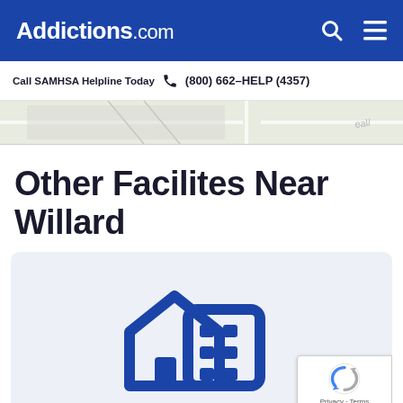Addictions.com
Call SAMHSA Helpline Today  (800) 662-HELP (4357)
[Figure (screenshot): Partial map view strip]
Other Facilites Near Willard
[Figure (illustration): Blue building/house icon illustration on light blue background representing treatment facilities]
Privacy · Terms